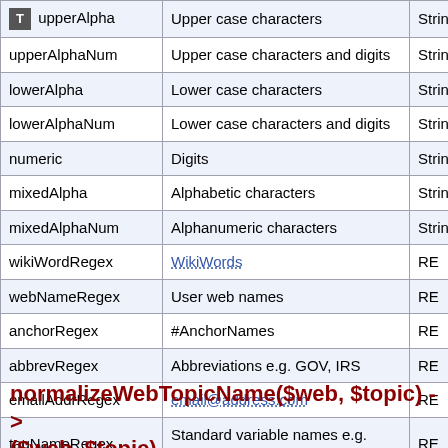|  | Description | Type |
| --- | --- | --- |
| upperAlpha | Upper case characters | String |
| upperAlphaNum | Upper case characters and digits | String |
| lowerAlpha | Lower case characters | String |
| lowerAlphaNum | Lower case characters and digits | String |
| numeric | Digits | String |
| mixedAlpha | Alphabetic characters | String |
| mixedAlphaNum | Alphanumeric characters | String |
| wikiWordRegex | WikiWords | RE |
| webNameRegex | User web names | RE |
| anchorRegex | #AnchorNames | RE |
| abbrevRegex | Abbreviations e.g. GOV, IRS | RE |
| emailAddrRegex | email@address.com | RE |
| tagNameRegex | Standard variable names e.g. %THIS_BIT% (THIS_BIT only) | RE |
normalizeWebTopicName($web, $topic) -> ($web, $topic)